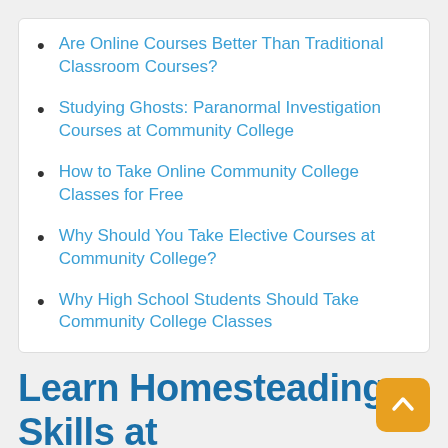Are Online Courses Better Than Traditional Classroom Courses?
Studying Ghosts: Paranormal Investigation Courses at Community College
How to Take Online Community College Classes for Free
Why Should You Take Elective Courses at Community College?
Why High School Students Should Take Community College Classes
Learn Homesteading Skills at Your Local Community